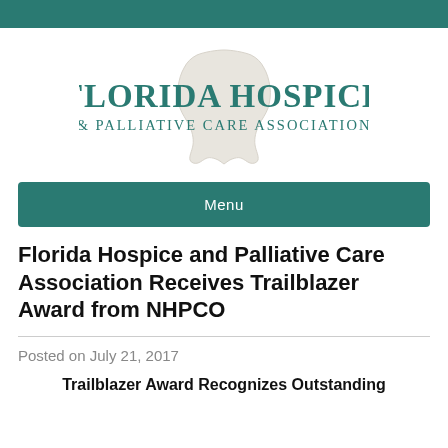[Figure (logo): Florida Hospice & Palliative Care Association logo with Florida state outline shape in light gray and teal text]
Menu
Florida Hospice and Palliative Care Association Receives Trailblazer Award from NHPCO
Posted on July 21, 2017
Trailblazer Award Recognizes Outstanding